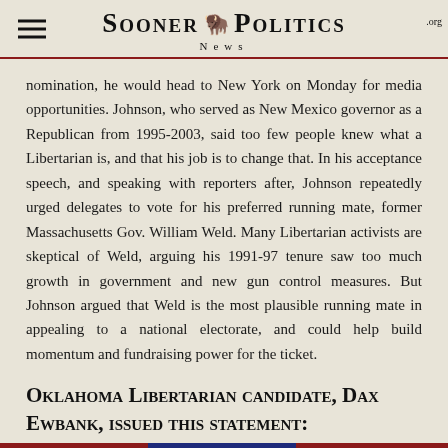Sooner Politics News .org
nomination, he would head to New York on Monday for media opportunities. Johnson, who served as New Mexico governor as a Republican from 1995-2003, said too few people knew what a Libertarian is, and that his job is to change that. In his acceptance speech, and speaking with reporters after, Johnson repeatedly urged delegates to vote for his preferred running mate, former Massachusetts Gov. William Weld. Many Libertarian activists are skeptical of Weld, arguing his 1991-97 tenure saw too much growth in government and new gun control measures. But Johnson argued that Weld is the most plausible running mate in appealing to a national electorate, and could help build momentum and fundraising power for the ticket.
Oklahoma Libertarian candidate, Dax Ewbank, issued this statement: